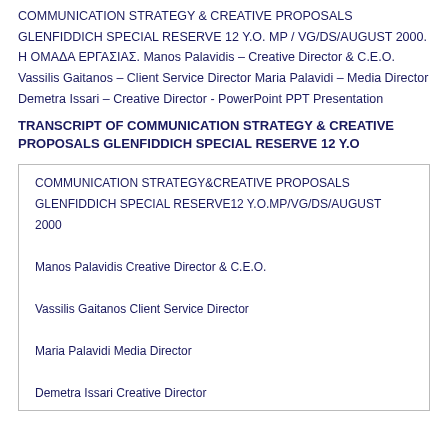COMMUNICATION STRATEGY & CREATIVE PROPOSALS GLENFIDDICH SPECIAL RESERVE 12 Y.O. MP / VG/DS/AUGUST 2000. Η ΟΜΑΔΑ ΕΡΓΑΣΙΑΣ. Manos Palavidis – Creative Director & C.E.O. Vassilis Gaitanos – Client Service Director Maria Palavidi – Media Director Demetra Issari – Creative Director - PowerPoint PPT Presentation
TRANSCRIPT OF COMMUNICATION STRATEGY & CREATIVE PROPOSALS GLENFIDDICH SPECIAL RESERVE 12 Y.O
COMMUNICATION STRATEGY&CREATIVE PROPOSALS
GLENFIDDICH SPECIAL RESERVE12 Y.O.MP/VG/DS/AUGUST 2000
Manos Palavidis Creative Director & C.E.O.
Vassilis Gaitanos Client Service Director
Maria Palavidi Media Director
Demetra Issari Creative Director